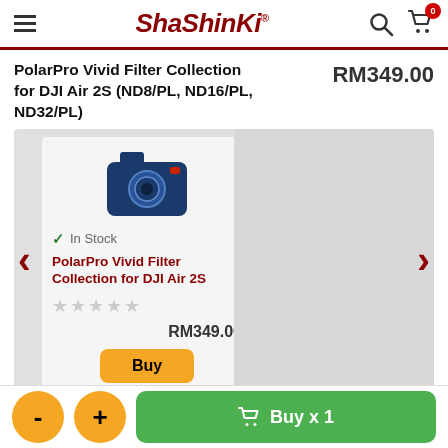ShaShinKi
PolarPro Vivid Filter Collection for DJI Air 2S (ND8/PL, ND16/PL, ND32/PL) RM349.00
[Figure (screenshot): Product card carousel showing PolarPro Vivid Filter Collection for DJI Air 2S with camera icon, In Stock badge, star rating, RM349.00 price, and Buy button. Left and right navigation arrows visible.]
In Stock
PolarPro Vivid Filter Collection for DJI Air 2S
RM349.00
Buy
- + Buy x 1